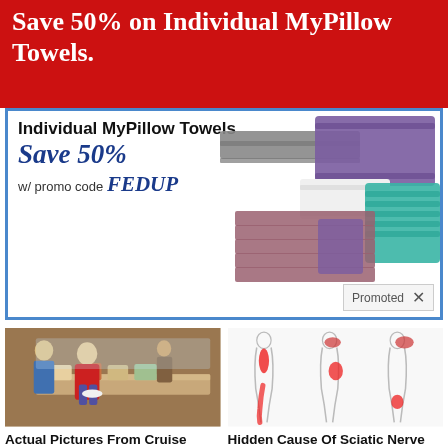Save 50% on Individual MyPillow Towels.
[Figure (infographic): MyPillow Towels advertisement: 'Individual MyPillow Towels Save 50% w/ promo code FEDUP' with image of stacked colorful towels (gray, purple, mauve, white, teal). Shows 'Promoted' badge with X button.]
[Figure (photo): People at a cruise ship buffet line, woman in red shirt serving food.]
Actual Pictures From Cruise Ships That Will Make You Think Twice Before Booking A Trip
🔥 2,920
[Figure (illustration): Medical illustration showing three side-profile human body outlines with red highlighted areas indicating sciatic nerve pain regions along the back, hip, and leg.]
Hidden Cause Of Sciatic Nerve Pain In Adults Over 50...
🔥 58,922